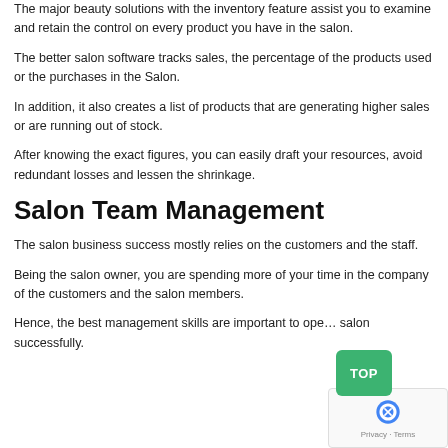The major beauty solutions with the inventory feature assist you to examine and retain the control on every product you have in the salon.
The better salon software tracks sales, the percentage of the products used or the purchases in the Salon.
In addition, it also creates a list of products that are generating higher sales or are running out of stock.
After knowing the exact figures, you can easily draft your resources, avoid redundant losses and lessen the shrinkage.
Salon Team Management
The salon business success mostly relies on the customers and the staff.
Being the salon owner, you are spending more of your time in the company of the customers and the salon members.
Hence, the best management skills are important to operate the salon successfully.